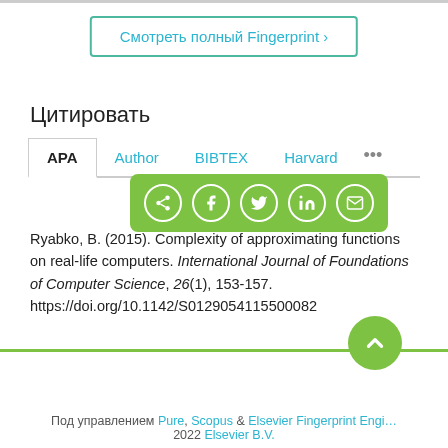Смотреть полный Fingerprint ›
Цитировать
APA | Author | BIBTEX | Harvard | ...
Ryabko, B. (2015). Complexity of approximating functions on real-life computers. International Journal of Foundations of Computer Science, 26(1), 153-157. https://doi.org/10.1142/S0129054115500082
Под управлением Pure, Scopus & Elsevier Fingerprint Engine — 2022 Elsevier B.V.